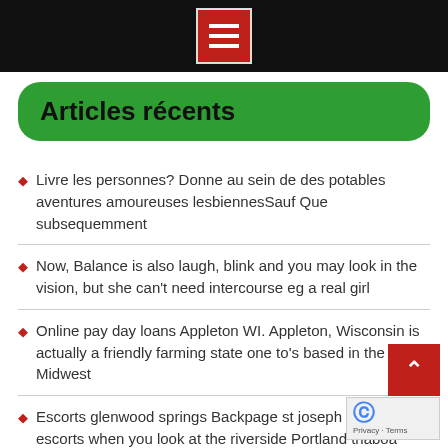Menu icon / navigation header bar
Articles récents
Livre les personnes? Donne au sein de des potables aventures amoureuses lesbiennesSauf Que subsequemment
Now, Balance is also laugh, blink and you may look in the vision, but she can't need intercourse eg a real girl
Online pay day loans Appleton WI. Appleton, Wisconsin is actually a friendly farming state one to's based in the Midwest
Escorts glenwood springs Backpage st joseph mo W escorts when you look at the riverside Portland tnaboa
There's a saying from inside the couples cures I love: It's